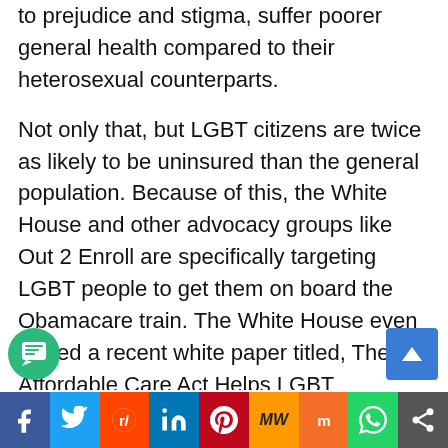to prejudice and stigma, suffer poorer general health compared to their heterosexual counterparts.

Not only that, but LGBT citizens are twice as likely to be uninsured than the general population. Because of this, the White House and other advocacy groups like Out 2 Enroll are specifically targeting LGBT people to get them on board the Obamacare train. The White House even issued a recent white paper titled, The Affordable Care Act Helps LGBT Americans. Yet, despite the need, many gays are resistant. Why? Turns out, years of discrimination and fighting with insurance companies has left LGBT people...
[Figure (other): Social sharing bar at bottom with Facebook, Twitter, Reddit, LinkedIn, Pinterest, MW, Mix, WhatsApp, and share icons]